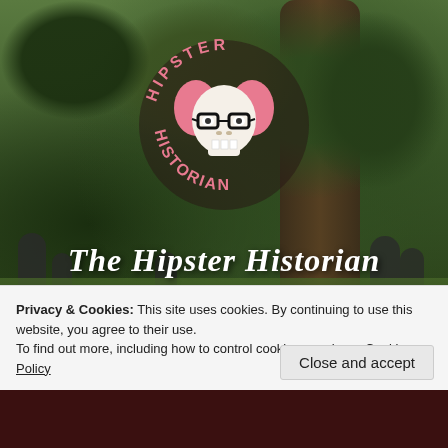[Figure (logo): Hipster Historian circular logo with skull wearing glasses and pink hair, text reading HIPSTER HISTORIAN around the circle]
The Hipster Historian
Making genealogy more intersectional and accessible to all
[Figure (illustration): Social media icons: Facebook, Twitter, Instagram in white]
Privacy & Cookies: This site uses cookies. By continuing to use this website, you agree to their use.
To find out more, including how to control cookies, see here: Cookie Policy
Close and accept